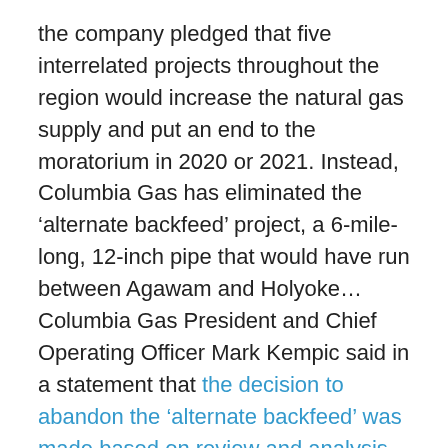the company pledged that five interrelated projects throughout the region would increase the natural gas supply and put an end to the moratorium in 2020 or 2021. Instead, Columbia Gas has eliminated the ‘alternate backfeed’ project, a 6-mile-long, 12-inch pipe that would have run between Agawam and Holyoke…Columbia Gas President and Chief Operating Officer Mark Kempic said in a statement that the decision to abandon the ‘alternate backfeed’ was made based on review and analysis over the past few months of the cost impact and benefits to customers, and is unrelated to the work moratorium imposed by the state’s Department of Public Utilities on the Columbia Gas system. ‘Our determination is that we can accomplish the goals of removing leak-prone pipe in Agawam and West Springfield, as well as enhance operational flexibility, with the four remaining projects,’